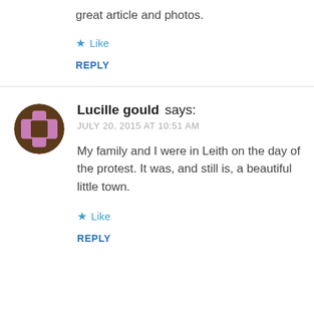great article and photos.
★ Like
REPLY
Lucille gould says: JULY 20, 2015 AT 10:51 AM
My family and I were in Leith on the day of the protest. It was, and still is, a beautiful little town.
★ Like
REPLY